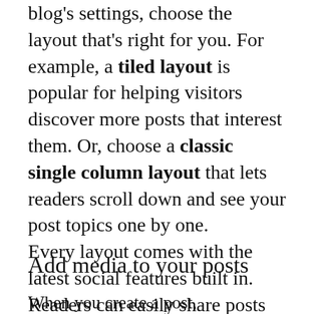blog's settings, choose the layout that's right for you. For example, a tiled layout is popular for helping visitors discover more posts that interest them. Or, choose a classic single column layout that lets readers scroll down and see your post topics one by one.
Every layout comes with the latest social features built in. Readers can easily share posts on social networks like Facebook and Twitter and view how many people have liked a post, made comments and more.
Add media to your posts
When you create a post,